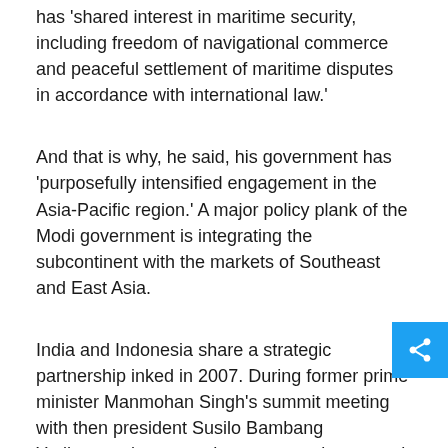has 'shared interest in maritime security, including freedom of navigational commerce and peaceful settlement of maritime disputes in accordance with international law.'
And that is why, he said, his government has 'purposefully intensified engagement in the Asia-Pacific region.' A major policy plank of the Modi government is integrating the subcontinent with the markets of Southeast and East Asia.
India and Indonesia share a strategic partnership inked in 2007. During former prime minister Manmohan Singh's summit meeting with then president Susilo Bambang Yudhoyono last year, the two countries agreed to adopt a five-pronged initiative that included defence and security cooperation and cooperation in responding to common challenges.
A year later that looks a tall order. Rizal Sukma, director of